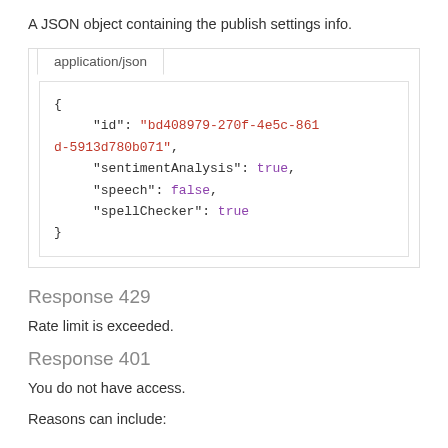A JSON object containing the publish settings info.
[Figure (screenshot): Code block showing application/json tab with a JSON object containing id, sentimentAnalysis, speech, and spellChecker fields]
Response 429
Rate limit is exceeded.
Response 401
You do not have access.
Reasons can include: